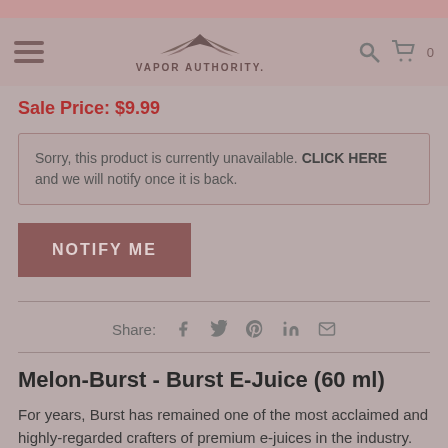Vapor Authority — Navigation header with hamburger menu, logo, search and cart icons
Sale Price: $9.99
Sorry, this product is currently unavailable. CLICK HERE and we will notify once it is back.
NOTIFY ME
Share:
Melon-Burst - Burst E-Juice (60 ml)
For years, Burst has remained one of the most acclaimed and highly-regarded crafters of premium e-juices in the industry. Concocted by their talented artisans with only the